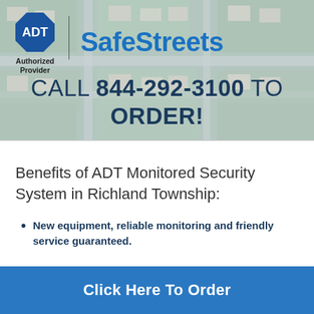[Figure (logo): ADT Authorized Provider logo and SafeStreets logo side by side on aerial neighborhood background with call to order text: CALL 844-292-3100 TO ORDER!]
Benefits of ADT Monitored Security System in Richland Township:
New equipment, reliable monitoring and friendly service guaranteed.
Click Here To Order